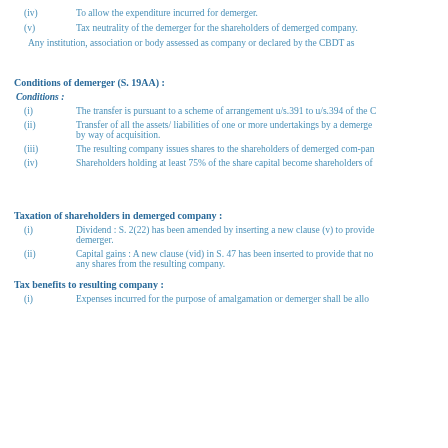(iv)   To allow the expenditure incurred for demerger.
(v)   Tax neutrality of the demerger for the shareholders of demerged company.
Any institution, association or body assessed as company or declared by the CBDT as
Conditions of demerger (S. 19AA) :
Conditions :
(i)   The transfer is pursuant to a scheme of arrangement u/s.391 to u/s.394 of the C
(ii)   Transfer of all the assets/ liabilities of one or more undertakings by a demerge by way of acquisition.
(iii)   The resulting company issues shares to the shareholders of demerged com-pan
(iv)   Shareholders holding at least 75% of the share capital become shareholders of
Taxation of shareholders in demerged company :
(i)   Dividend : S. 2(22) has been amended by inserting a new clause (v) to provide demerger.
(ii)   Capital gains : A new clause (vid) in S. 47 has been inserted to provide that no any shares from the resulting company.
Tax benefits to resulting company :
(i)   Expenses incurred for the purpose of amalgamation or demerger shall be allo